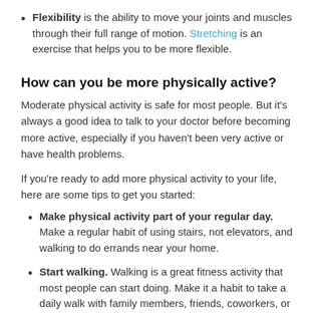Flexibility is the ability to move your joints and muscles through their full range of motion. Stretching is an exercise that helps you to be more flexible.
How can you be more physically active?
Moderate physical activity is safe for most people. But it's always a good idea to talk to your doctor before becoming more active, especially if you haven't been very active or have health problems.
If you're ready to add more physical activity to your life, here are some tips to get you started:
Make physical activity part of your regular day. Make a regular habit of using stairs, not elevators, and walking to do errands near your home.
Start walking. Walking is a great fitness activity that most people can start doing. Make it a habit to take a daily walk with family members, friends, coworkers, or pets.
Find activities you love. This can make exercising...